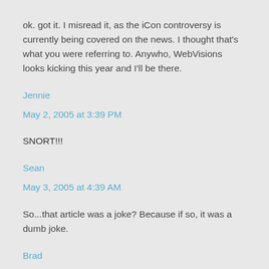ok. got it. I misread it, as the iCon controversy is currently being covered on the news. I thought that's what you were referring to. Anywho, WebVisions looks kicking this year and I'll be there.
Jennie
May 2, 2005 at 3:39 PM
SNORT!!!
Sean
May 3, 2005 at 4:39 AM
So...that article was a joke? Because if so, it was a dumb joke.
Brad